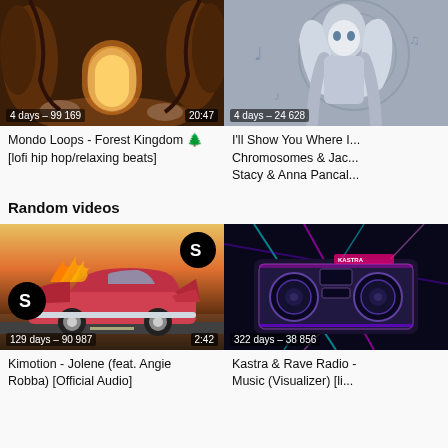[Figure (screenshot): Video thumbnail: Forest Kingdom lofi hip hop, dark forest scene with glowing doorway]
4 days – 99 169
20:47
Mondo Loops - Forest Kingdom 🌲 [lofi hip hop/relaxing beats]
[Figure (screenshot): Video thumbnail: Anime girl with silver hair, fantasy art style]
4 days – 24 628
I'll Show You Where I... Chromosomes & Jac... Stacy & Anna Pancal...
Random videos
[Figure (screenshot): Video thumbnail: Pink Cadillac convertible on desert road, Spinnin Records logo]
129 days – 90 987
2:42
Kimotion - Jolene (feat. Angie Robba) [Official Audio]
[Figure (screenshot): Video thumbnail: Neon boombox with laser lights, rave music visualizer]
322 days – 38 856
Kastra & Rave Radio - Music (Visualizer) [li...